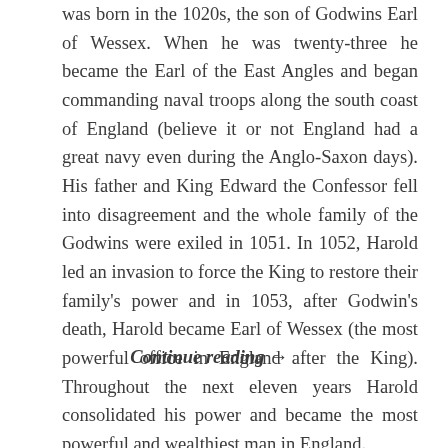was born in the 1020s, the son of Godwins Earl of Wessex. When he was twenty-three he became the Earl of the East Angles and began commanding naval troops along the south coast of England (believe it or not England had a great navy even during the Anglo-Saxon days). His father and King Edward the Confessor fell into disagreement and the whole family of the Godwins were exiled in 1051. In 1052, Harold led an invasion to force the King to restore their family's power and in 1053, after Godwin's death, Harold became Earl of Wessex (the most powerful office in England after the King). Throughout the next eleven years Harold consolidated his power and became the most powerful and wealthiest man in England.
Continue reading →